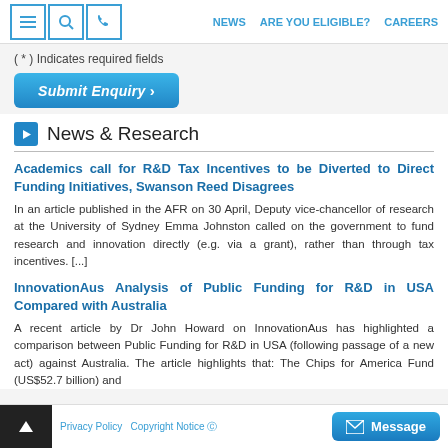NEWS  ARE YOU ELIGIBLE?  CAREERS
( * ) Indicates required fields
Submit Enquiry >
News & Research
Academics call for R&D Tax Incentives to be Diverted to Direct Funding Initiatives, Swanson Reed Disagrees
In an article published in the AFR on 30 April, Deputy vice-chancellor of research at the University of Sydney Emma Johnston called on the government to fund research and innovation directly (e.g. via a grant), rather than through tax incentives. [...]
InnovationAus Analysis of Public Funding for R&D in USA Compared with Australia
A recent article by Dr John Howard on InnovationAus has highlighted a comparison between Public Funding for R&D in USA (following passage of a new act) against Australia. The article highlights that: The Chips for America Fund (US$52.7 billion) and
Privacy Policy  Copyright Notice